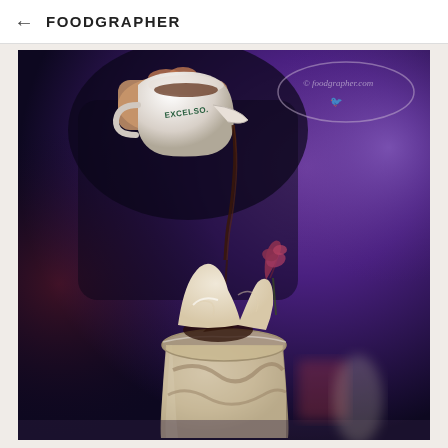← FOODGRAPHER
[Figure (photo): Food photography showing a hand pouring espresso from a white Excelso branded creamer/pitcher onto an ice cream float or milkshake topped with whipped cream and a dried rose bud garnish, with a dark purple/blue bokeh background. The drink is in a tall glass with visible chocolate syrup swirls.]